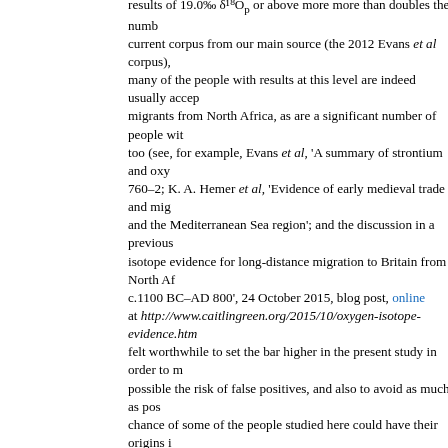results of 19.0‰ δ¹⁸Op or above more more than doubles the number in the current corpus from our main source (the 2012 Evans et al corpus), and many of the people with results at this level are indeed usually accepted as migrants from North Africa, as are a significant number of people with lower too (see, for example, Evans et al, 'A summary of strontium and oxy... 760–2; K. A. Hemer et al, 'Evidence of early medieval trade and mig... and the Mediterranean Sea region'; and the discussion in a previous... isotope evidence for long-distance migration to Britain from North Af... c.1100 BC–AD 800', 24 October 2015, blog post, online at http://www.caitlingreen.org/2015/10/oxygen-isotope-evidence.htm... felt worthwhile to set the bar higher in the present study in order to m... possible the risk of false positives, and also to avoid as much as po... chance of some of the people studied here could have their origins i... Europe with very high drinking-water oxygen isotope values, southe... 3    The map included in Evans et al, 'A summary of strontium and o... p. 761, indicates that the only part of Europe other than Britain with v... values above -5.0‰ is a small area of the south-eastern Iberian pen... Araguas & M. F. Diaz Teijeiro, 'Isotope composition of precipitation a... Iberian Peninsula', in IAEA, Isotopic composition of precipitation th... in relation to air circulation patterns and climate (Vienna, 2005), pp... that values in this area range down to -4.3‰ δ¹⁸O, which is slightly e... end of the British range (c. -4.5‰ δ¹⁸O); they also indicate that simil... δ¹⁸O are found in limited areas of the south-western coast of Iberia t... al, with groundwater results of c. 4.0‰ or even slightly higher repro... around Cádiz (Araguas-Araguas & Diaz Teijeiro, fig. 3 at p. 180). I...